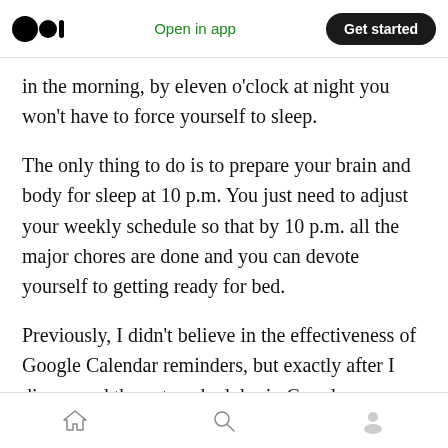Open in app  Get started
in the morning, by eleven o'clock at night you won't have to force yourself to sleep.
The only thing to do is to prepare your brain and body for sleep at 10 p.m. You just need to adjust your weekly schedule so that by 10 p.m. all the major chores are done and you can devote yourself to getting ready for bed.
Previously, I didn't believe in the effectiveness of Google Calendar reminders, but exactly after I discovered the auto-scheduler in Google Calendar. I use it on a daily basis. Now weekly to-
Home  Search  Profile